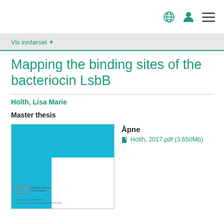Navigation header with globe, user, and menu icons
Vis innførsel
Mapping the binding sites of the bacteriocin LsbB
Holth, Lisa Marie
Master thesis
[Figure (other): Thumbnail preview of the master thesis PDF cover, showing a blue background with a white corner cutout and a Norwegian University of Life Sciences logo]
Åpne
Holth, 2017.pdf (3.650Mb)